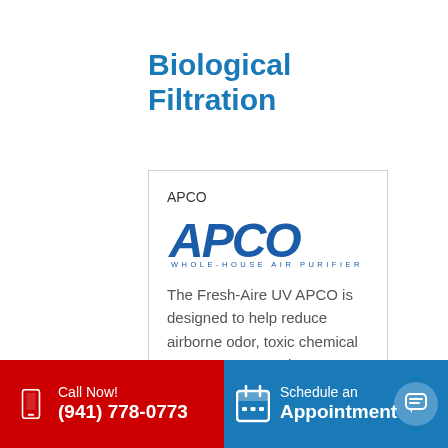Biological Filtration
APCO
[Figure (logo): APCO Whole-House Air Purifier logo with bold blue italic text APCO and smaller text WHOLE-HOUSE AIR PURIFIER below]
The Fresh-Aire UV APCO is designed to help reduce airborne odor, toxic chemical vapors, germs and
Call Now! (941) 778-0773 | Schedule an Appointment